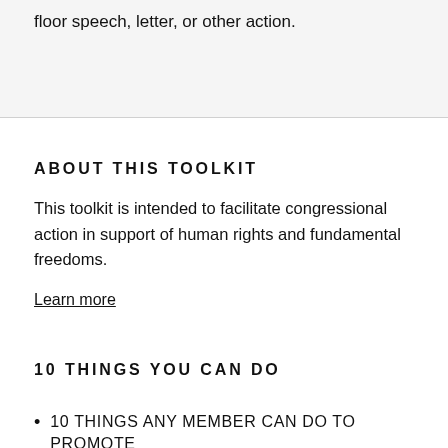floor speech, letter, or other action.
ABOUT THIS TOOLKIT
This toolkit is intended to facilitate congressional action in support of human rights and fundamental freedoms.
Learn more
10 THINGS YOU CAN DO
10 THINGS ANY MEMBER CAN DO TO PROMOTE